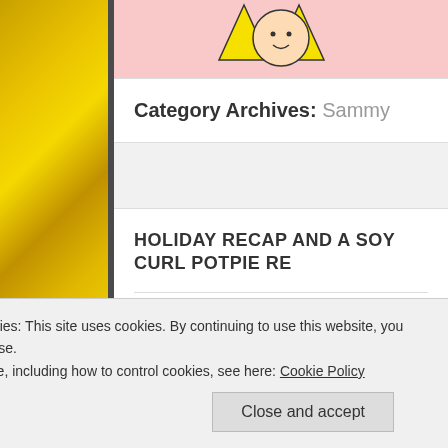[Figure (illustration): Left side banana photo strip — yellow bananas background]
[Figure (illustration): Blog header with pink background and cartoon character in yellow hat]
Category Archives: Sammy
HOLIDAY RECAP AND A SOY CURL POTPIE RE…
Posted by Banana Curl Vegan Girl in Appetizer, Bagels, Baked Go… Coconut, Cookies, Cooking, Desserts, Dinner, Dinners, Gluten Fr…
Privacy & Cookies: This site uses cookies. By continuing to use this website, you agree to their use. To find out more, including how to control cookies, see here: Cookie Policy
Close and accept
stuffed shells, sugar, superfoods, update, vegan, Veganism, wrea…